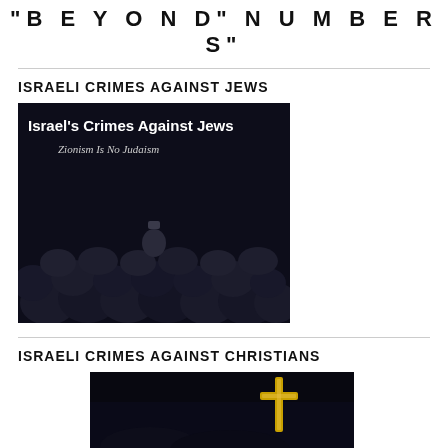"BEYOND" NUMBERS"
ISRAELI CRIMES AGAINST JEWS
[Figure (photo): Dark image of a crowd with text overlay reading "Israel's Crimes Against Jews" and "Zionism Is No Judaism"]
ISRAELI CRIMES AGAINST CHRISTIANS
[Figure (photo): Dark image showing a golden cross]